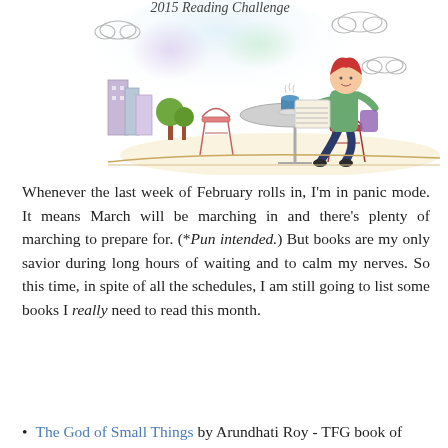[Figure (illustration): Illustration of a person with red hair reading a newspaper at a cafe table with a coffee cup, with clouds in sky background, buildings, and trees. Title text '2015 Reading Challenge' in cursive at top.]
Whenever the last week of February rolls in, I'm in panic mode. It means March will be marching in and there's plenty of marching to prepare for. (*Pun intended.) But books are my only savior during long hours of waiting and to calm my nerves. So this time, in spite of all the schedules, I am still going to list some books I really need to read this month.
The God of Small Things by Arundhati Roy - TFG book of